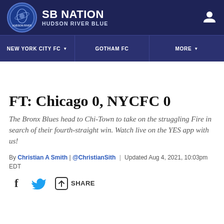SB NATION | HUDSON RIVER BLUE
NEW YORK CITY FC | GOTHAM FC | MORE
FT: Chicago 0, NYCFC 0
The Bronx Blues head to Chi-Town to take on the struggling Fire in search of their fourth-straight win. Watch live on the YES app with us!
By Christian A Smith | @ChristianSith | Updated Aug 4, 2021, 10:03pm EDT
SHARE